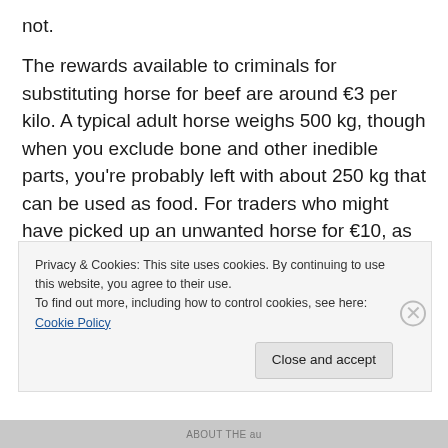not.
The rewards available to criminals for substituting horse for beef are around €3 per kilo. A typical adult horse weighs 500 kg, though when you exclude bone and other inedible parts, you're probably left with about 250 kg that can be used as food. For traders who might have picked up an unwanted horse for €10, as claimed by the UK's Opposition environment spokesperson this week, the opportunities are better than the drugs trade. And if people don't know the difference between horse and cow, then
Privacy & Cookies: This site uses cookies. By continuing to use this website, you agree to their use.
To find out more, including how to control cookies, see here: Cookie Policy
Close and accept